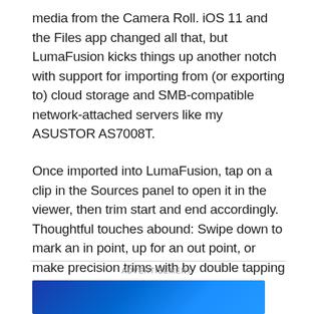media from the Camera Roll. iOS 11 and the Files app changed all that, but LumaFusion kicks things up another notch with support for importing from (or exporting to) cloud storage and SMB-compatible network-attached servers like my ASUSTOR AS7008T.
Once imported into LumaFusion, tap on a clip in the Sources panel to open it in the viewer, then trim start and end accordingly. Thoughtful touches abound: Swipe down to mark an in point, up for an out point, or make precision trims with by double tapping the viewer to go full-screen.
ADVERTISEMENT
[Figure (other): Blue gradient advertisement banner rectangle]